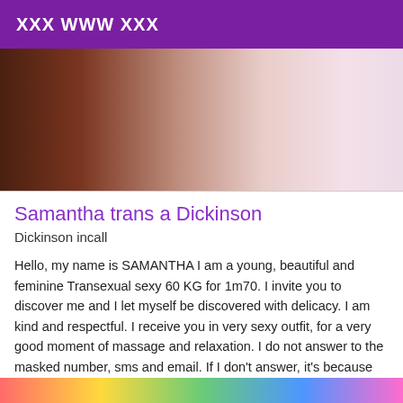XXX WWW XXX
[Figure (photo): Close-up photo showing a person's arm and shoulder against a light pink/lavender background, with a dark brick wall visible on the left side.]
Samantha trans a Dickinson
Dickinson incall
Hello, my name is SAMANTHA I am a young, beautiful and feminine Transexual sexy 60 KG for 1m70. I invite you to discover me and I let myself be discovered with delicacy. I am kind and respectful. I receive you in very sexy outfit, for a very good moment of massage and relaxation. I do not answer to the masked number, sms and email. If I don't answer, it's because I'm busy, please call later. I speak good American.
[Figure (photo): Colorful gradient strip at the bottom of the page with rainbow colors.]